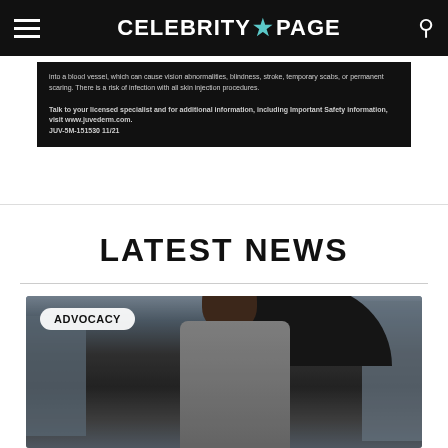CELEBRITY★PAGE
into a blood vessel, which can cause vision abnormalities, blindness, stroke, temporary scabs, or permanent scaring. There is a risk of infection with all skin injection procedures.

Talk to your licensed specialist and for additional information, including Important Safety information, visit www.juvederm.com.
JUV-5M-151530 11/21
LATEST NEWS
[Figure (photo): Man in grey suit and sunglasses walking under a black umbrella outside a building, with a badge reading ADVOCACY in the top-left corner of the image]